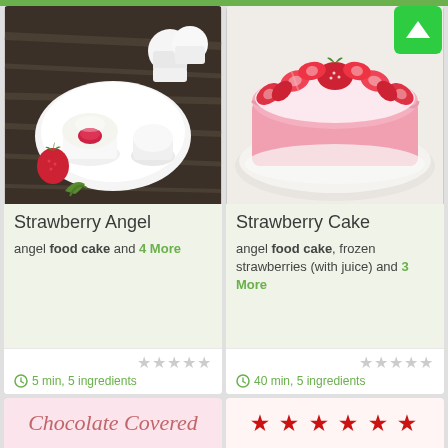[Figure (photo): Strawberry angel food cupcakes on a white plate with strawberries, halved cupcake showing strawberry filling]
Strawberry Angel
angel food cake and 4 More
5 min, 5 ingredients
[Figure (photo): Strawberry cake with pink frosting topped with fresh sliced strawberries arranged in a circle]
Strawberry Cake
angel food cake, frozen strawberries (with juice) and 3 More
40 min, 5 ingredients
Chocolate Covered
[Figure (photo): Partial view of another recipe card at the bottom right]